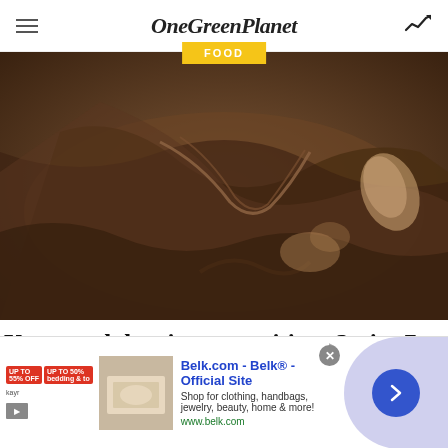OneGreenPlanet
FOOD
[Figure (photo): Close-up of dark brown denim/leather clothing items folded together]
Your work besties are waiting. Series 7 remote roles.
Fidelity Investments
3. Red Velvet Cupcakes With
[Figure (infographic): Advertisement banner for Belk.com - Belk® - Official Site. Shop for clothing, handbags, jewelry, beauty, home & more! www.belk.com]